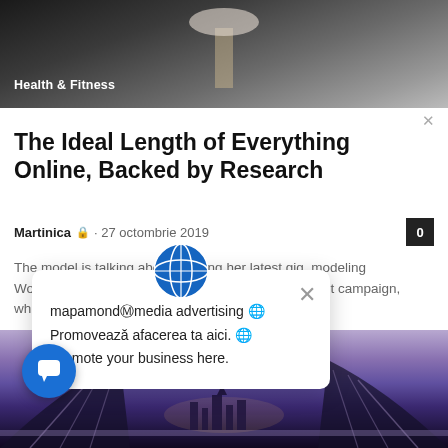[Figure (photo): Top banner photo of a lamp or light fixture against dark background]
Health & Fitness
The Ideal Length of Everything Online, Backed by Research
Martinica · 27 octombrie 2019
The model is talking about booking her latest gig, modeling WordPress underwear in the brand latest Perfectly Fit campaign, which was shot by Lachian...
[Figure (screenshot): Social sharing bar with blue background]
[Figure (infographic): Popup card with globe icon showing mapamondmedia advertising text: Promovează afacerea ta aici. Promote your business here.]
[Figure (photo): Bottom cityscape photo with bridge and purple/blue sky at dusk]